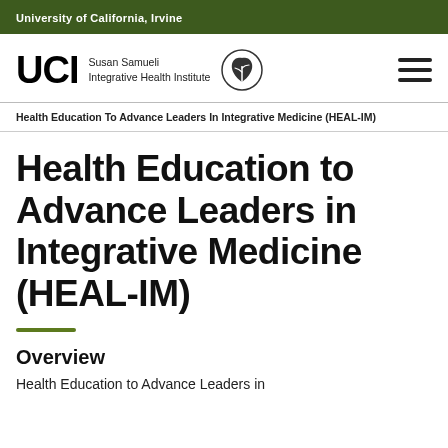University of California, Irvine
[Figure (logo): UCI Susan Samueli Integrative Health Institute logo with leaf emblem and hamburger menu icon]
Health Education To Advance Leaders In Integrative Medicine (HEAL-IM)
Health Education to Advance Leaders in Integrative Medicine (HEAL-IM)
Overview
Health Education to Advance Leaders in